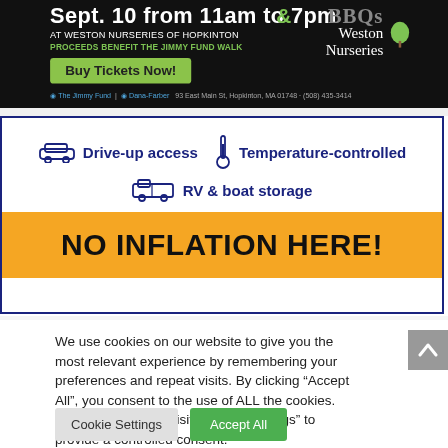[Figure (illustration): Advertisement for Weston Nurseries of Hopkinton event on dark background. Shows text 'Sept. 10 from 11am to 7pm', 'AT WESTON NURSERIES OF HOPKINTON', 'PROCEEDS BENEFIT THE JIMMY FUND WALK', a green 'Buy Tickets Now!' button, Weston Nurseries logo with tree, The Jimmy Fund and Dana-Farber logos, address '93 East Main St, Hopkinton, MA 01748 · (508) 435-3414'.]
[Figure (illustration): Storage facility advertisement with blue border. Features icons and text: drive icon 'Drive-up access', thermometer icon 'Temperature-controlled', RV icon 'RV & boat storage'. Yellow banner at bottom reads 'NO INFLATION HERE!' in bold black text.]
We use cookies on our website to give you the most relevant experience by remembering your preferences and repeat visits. By clicking “Accept All”, you consent to the use of ALL the cookies. However, you may visit "Cookie Settings" to provide a controlled consent.
Cookie Settings
Accept All